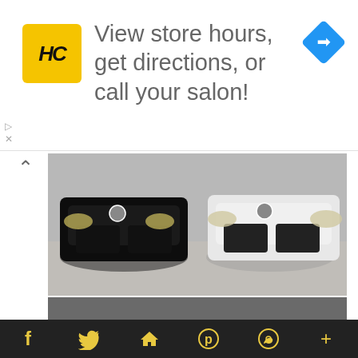[Figure (infographic): Advertisement banner with HC logo (yellow square with black HC text), text 'View store hours, get directions, or call your salon!', and a blue directions diamond icon on the right. Small arrow and X controls on far left.]
[Figure (photo): Two BMW M4 cars photographed from the front — a black one on the left and a white one on the right — parked side by side on a concrete surface, top photo.]
[Figure (photo): Two BMW M4 cars photographed from a lower angle — black car on the left, white car on the right — with CAR_REVS_DAILY watermark text and a V-logo badge visible on the white car's hood. Bottom photo.]
f  (Twitter bird)  (house/home)  p  (WhatsApp)  +